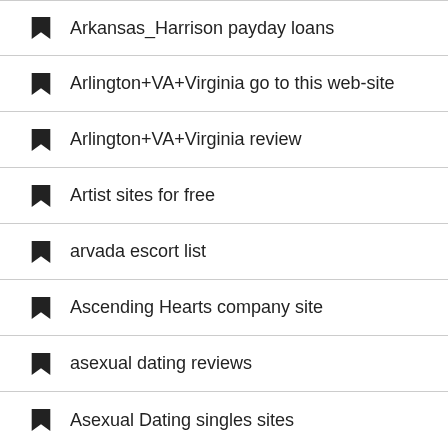Arkansas_Harrison payday loans
Arlington+VA+Virginia go to this web-site
Arlington+VA+Virginia review
Artist sites for free
arvada escort list
Ascending Hearts company site
asexual dating reviews
Asexual Dating singles sites